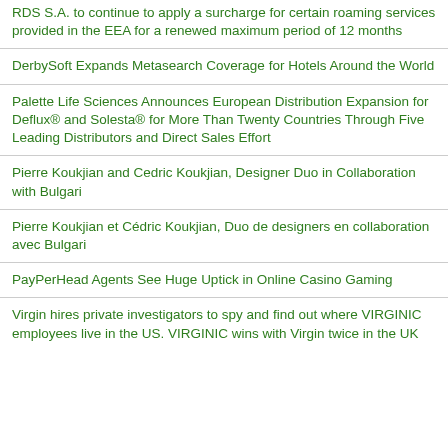RDS S.A. to continue to apply a surcharge for certain roaming services provided in the EEA for a renewed maximum period of 12 months
DerbySoft Expands Metasearch Coverage for Hotels Around the World
Palette Life Sciences Announces European Distribution Expansion for Deflux® and Solesta® for More Than Twenty Countries Through Five Leading Distributors and Direct Sales Effort
Pierre Koukjian and Cedric Koukjian, Designer Duo in Collaboration with Bulgari
Pierre Koukjian et Cédric Koukjian, Duo de designers en collaboration avec Bulgari
PayPerHead Agents See Huge Uptick in Online Casino Gaming
Virgin hires private investigators to spy and find out where VIRGINIC employees live in the US. VIRGINIC wins with Virgin twice in the UK